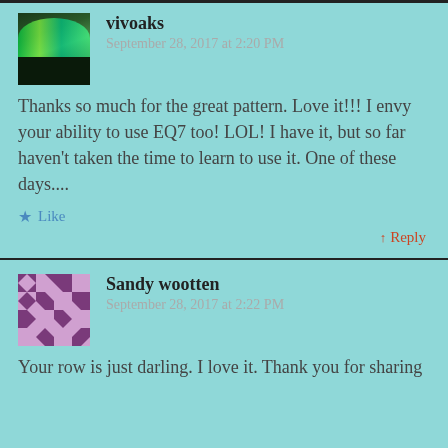vivoaks
September 28, 2017 at 2:20 PM
Thanks so much for the great pattern. Love it!!! I envy your ability to use EQ7 too! LOL! I have it, but so far haven't taken the time to learn to use it. One of these days....
★ Like
↑ Reply
Sandy wootten
September 28, 2017 at 2:22 PM
Your row is just darling. I love it. Thank you for sharing